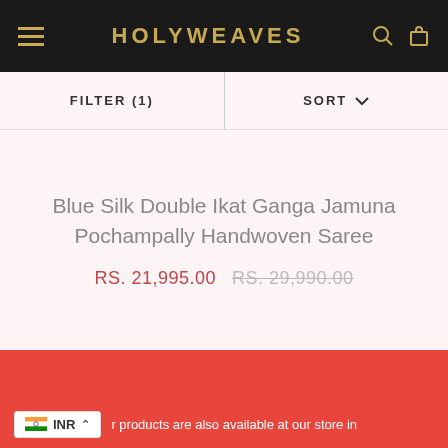HOLYWEAVES
FILTER (1)
SORT
Blue Silk Double Ikat Ganga Jamuna Pochampally Handwoven Saree
RS. 21,995.00  RS. 29,990.00
[Figure (other): Red background section]
INR  r products are also available at our store in